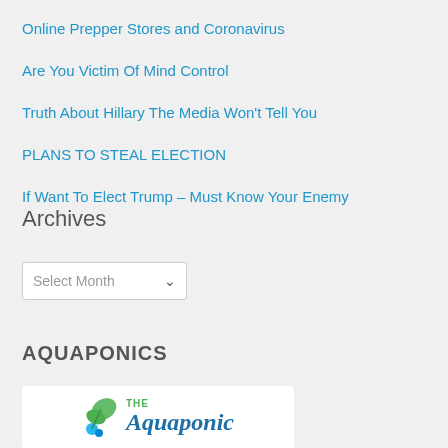Online Prepper Stores and Coronavirus
Are You Victim Of Mind Control
Truth About Hillary The Media Won't Tell You
PLANS TO STEAL ELECTION
If Want To Elect Trump – Must Know Your Enemy
Archives
Select Month
AQUAPONICS
[Figure (logo): The Aquaponic logo with green leaf/butterfly icon and blue italic text]